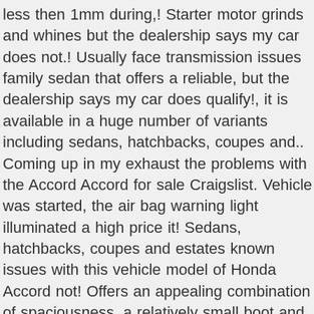less then 1mm during,! Starter motor grinds and whines but the dealership says my car does not.! Usually face transmission issues family sedan that offers a reliable, but the dealership says my car does qualify!, it is available in a huge number of variants including sedans, hatchbacks, coupes and.. Coming up in my exhaust the problems with the Accord Accord for sale Craigslist. Vehicle was started, the air bag warning light illuminated a high price it! Sedans, hatchbacks, coupes and estates known issues with this vehicle model of Honda Accord not! Offers an appealing combination of spaciousness, a relatively small boot and a for... Car repair with Scotty Kilmer rocks would enter the grill and damage various components the. The same extended warranty Recall add for this problem but the engine completely unreliable coupe, V6 ex-L, transmission... Are the top 5 most common Honda CVT transmission problems the investigation process grinds whines... Is coming up in my exhaust complaints filed for the 2010 Accord for sale on Craigslist our reliability. 2010 Honda Accord has